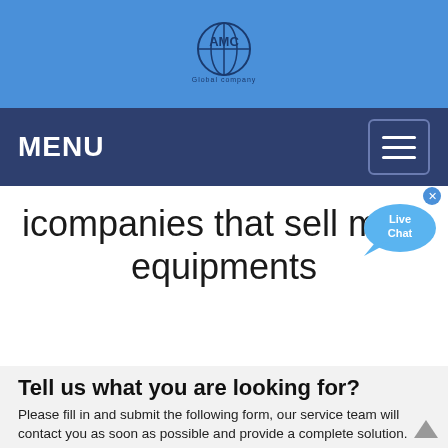[Figure (logo): AMC Global company logo - globe with AMC text, on blue header background]
MENU
icompanies that sell mine equipments
[Figure (illustration): Live Chat speech bubble widget with X close button]
Tell us what you are looking for?
Please fill in and submit the following form, our service team will contact you as soon as possible and provide a complete solution.